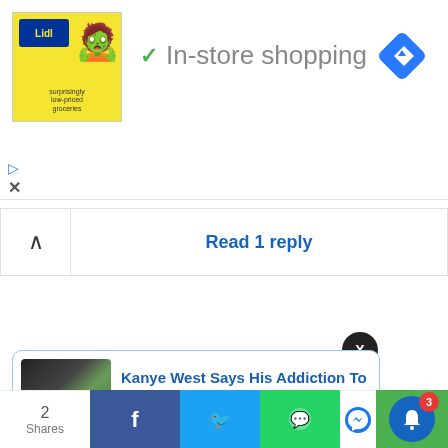[Figure (screenshot): Lidl store advertisement banner with yellow background, Lidl logo, monster character, and 'In-store shopping' text with green checkmark and blue diamond navigation icon]
Read 1 reply
[Figure (screenshot): News notification card: 'Kanye West Says His Addiction To Porn' - 47 minutes ago, with thumbnail image]
Kanye West Says His Addiction To Porn
47 minutes ago
Shares
[Figure (screenshot): Bottom social sharing toolbar with Facebook, Twitter, WhatsApp, Messenger icons and notification bell with badge showing 3]